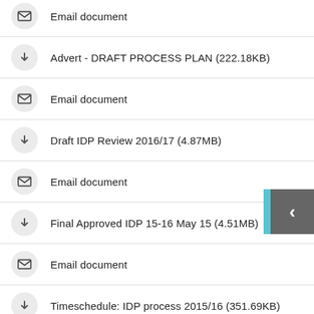Email document
Advert - DRAFT PROCESS PLAN (222.18KB)
Email document
Draft IDP Review 2016/17 (4.87MB)
Email document
Final Approved IDP 15-16 May 15 (4.51MB)
Email document
Timeschedule: IDP process 2015/16 (351.69KB)
Email document